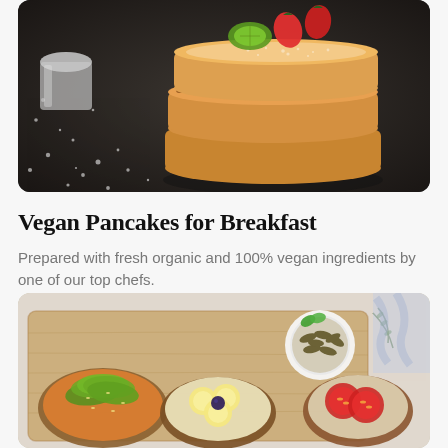[Figure (photo): Stack of fluffy vegan pancakes dusted with powdered sugar, topped with fresh strawberries and green kiwi slices, on a dark slate background with powdered sugar scattered around. A metallic cup is visible in the background left.]
Vegan Pancakes for Breakfast
Prepared with fresh organic and 100% vegan ingredients by one of our top chefs.
[Figure (photo): An overhead view of a wooden cutting board with various open-faced toasts: one topped with sliced avocado on an orange spread, one with sliced bananas and a blueberry, and one with sliced cherry tomatoes. A white bowl filled with pumpkin seeds sits in the upper right, garnished with a mint leaf. Rosemary sprigs are scattered around.]